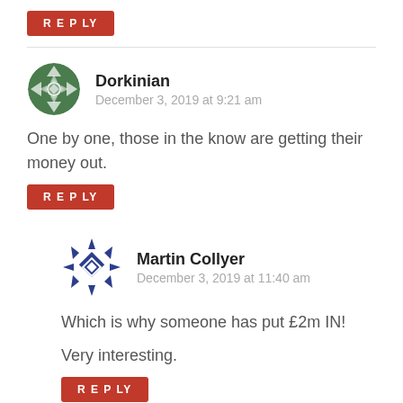REPLY
Dorkinian
December 3, 2019 at 9:21 am
One by one, those in the know are getting their money out.
REPLY
Martin Collyer
December 3, 2019 at 11:40 am
Which is why someone has put £2m IN!

Very interesting.
REPLY